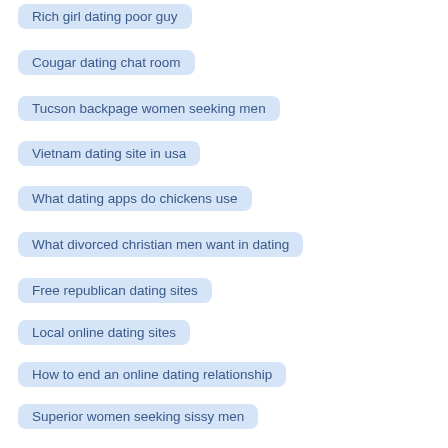Rich girl dating poor guy
Cougar dating chat room
Tucson backpage women seeking men
Vietnam dating site in usa
What dating apps do chickens use
What divorced christian men want in dating
Free republican dating sites
Local online dating sites
How to end an online dating relationship
Superior women seeking sissy men
Connect